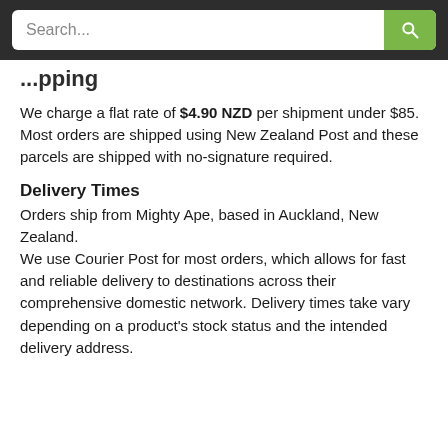Search...
...pping
We charge a flat rate of $4.90 NZD per shipment under $85. Most orders are shipped using New Zealand Post and these parcels are shipped with no-signature required.
Delivery Times
Orders ship from Mighty Ape, based in Auckland, New Zealand.
We use Courier Post for most orders, which allows for fast and reliable delivery to destinations across their comprehensive domestic network. Delivery times take vary depending on a product's stock status and the intended delivery address.